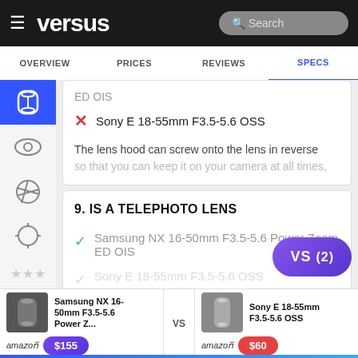versus — Search — OVERVIEW | PRICES | REVIEWS | SPECS
ED OIS
✗ Sony E 18-55mm F3.5-5.6 OSS
The lens hood can screw onto the lens in reverse so that you can keep it on your camera at all times,
9. IS A TELEPHOTO LENS
✓ Samsung NX 16-50mm F3.5-5.6 Power Zoom ED OIS
(faded item)
[Figure (screenshot): VS (2) comparison button, purple rounded pill shape]
+ SHOW MORE +
Samsung NX 16-50mm F3.5-5.6 Power Z... VS Sony E 18-55mm F3.5-5.6 OSS | amazon $155 | amazon $60